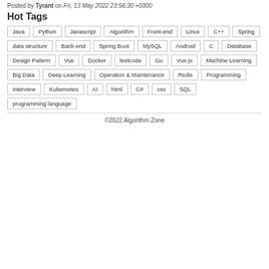Posted by Tyrant on Fri, 13 May 2022 23:56:30 +0300
Hot Tags
Java
Python
Javascript
Algorithm
Front-end
Linux
C++
Spring
data structure
Back-end
Spring Boot
MySQL
Android
C
Database
Design Pattern
Vue
Docker
leetcode
Go
Vue.js
Machine Learning
Big Data
Deep Learning
Operation & Maintenance
Redis
Programming
Interview
Kubernetes
AI
html
C#
css
SQL
programming language
©2022 Algorithm Zone